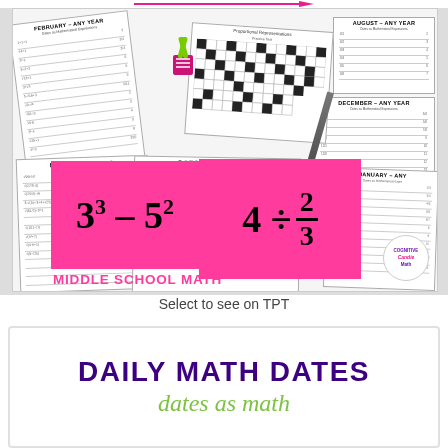[Figure (photo): Photo of middle school math worksheets spread out on a surface with two pink sticky notes showing math expressions 3^3 - 5^2 and 4 ÷ 2/3, a pencil, binder clips, worksheets labeled February, March, October, August, December, January. Text at bottom of photo reads MIDDLE SCHOOL MATH in pink.]
Select to see on TPT
DAILY MATH DATES
dates as math